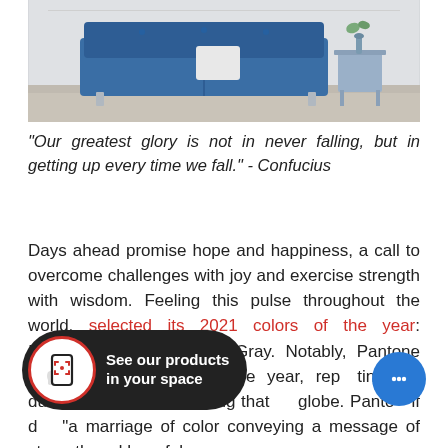[Figure (photo): A styled living room with a blue tufted sofa, white pillow, a small side table with a plant, against white paneled walls. Light beige carpet flooring.]
“Our greatest glory is not in never falling, but in getting up every time we fall.” - Confucius
Days ahead promise hope and happiness, a call to overcome challenges with joy and exercise strength with wisdom. Feeling this pulse throughout the world, selected its 2021 colors of the year: Illuminating and Ultimate Gray. Notably, Pantone proposed two colors of the year, representing the duality and depth of feeling that spans the globe. Pantone itself described “a marriage of color conveying a message of strength and hopefulness